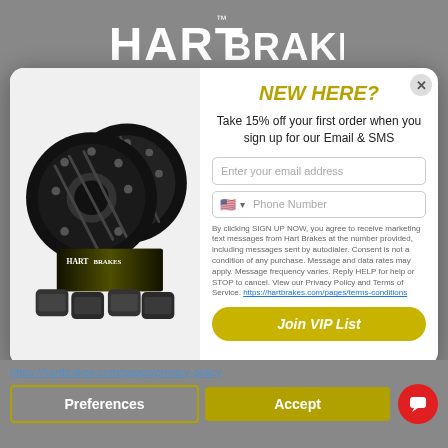HART BRAKES
[Figure (photo): Hart Brakes product photo showing two black drilled and slotted brake rotors with brake pads and a Hart Brakes product box in the foreground]
NEW HERE?
Take 15% off your first order when you sign up for our Email & SMS
Enter your email address
Phone Number
By clicking SIGN UP NOW, you agree to receive marketing text messages from Hart Brakes at the number provided, including messages sent by autodialer. Consent is not a condition of any purchase. Message and data rates may apply. Message frequency varies. Reply HELP for help or STOP to cancel. View our Privacy Policy and Terms of Service. https://hartbrakes.com/pages/terms-conditions
Join VIP List
https://hartbrakes.com/pages/privacy-policy
Preferences
Accept